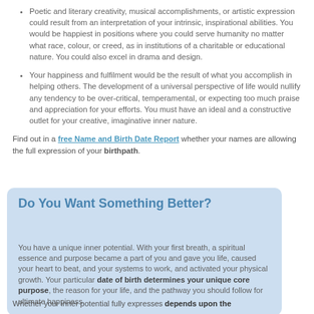Poetic and literary creativity, musical accomplishments, or artistic expression could result from an interpretation of your intrinsic, inspirational abilities. You would be happiest in positions where you could serve humanity no matter what race, colour, or creed, as in institutions of a charitable or educational nature. You could also excel in drama and design.
Your happiness and fulfilment would be the result of what you accomplish in helping others. The development of a universal perspective of life would nullify any tendency to be over-critical, temperamental, or expecting too much praise and appreciation for your efforts. You must have an ideal and a constructive outlet for your creative, imaginative inner nature.
Find out in a free Name and Birth Date Report whether your names are allowing the full expression of your birthpath.
Do You Want Something Better?
You have a unique inner potential. With your first breath, a spiritual essence and purpose became a part of you and gave you life, caused your heart to beat, and your systems to work, and activated your physical growth. Your particular date of birth determines your unique core purpose, the reason for your life, and the pathway you should follow for ultimate happiness.
Whether your inner potential fully expresses depends upon the